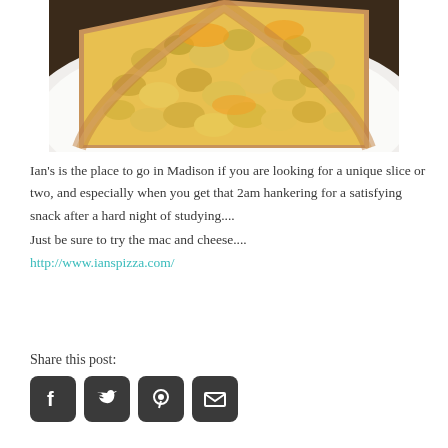[Figure (photo): A slice of mac and cheese pizza on a white paper plate, viewed from above. The pizza has a golden-brown crust topped with macaroni and melted yellow-orange cheese.]
Ian's is the place to go in Madison if you are looking for a unique slice or two, and especially when you get that 2am hankering for a satisfying snack after a hard night of studying....
Just be sure to try the mac and cheese....
http://www.ianspizza.com/
Share this post:
[Figure (other): Social sharing icons: Facebook, Twitter, Pinterest, Email]